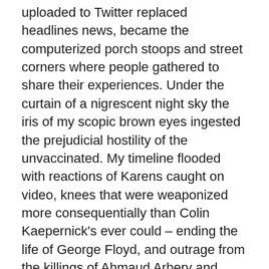uploaded to Twitter replaced headlines news, became the computerized porch stoops and street corners where people gathered to share their experiences. Under the curtain of a nigrescent night sky the iris of my scopic brown eyes ingested the prejudicial hostility of the unvaccinated. My timeline flooded with reactions of Karens caught on video, knees that were weaponized more consequentially than Colin Kaepernick's ever could – ending the life of George Floyd, and outrage from the killings of Ahmaud Arbery and Breonna Taylor were added to our narrative. #saytheirnames